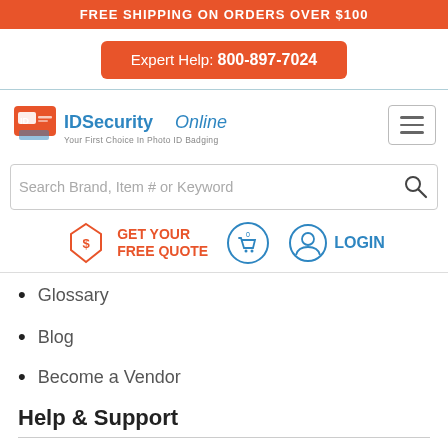FREE SHIPPING ON ORDERS OVER $100
Expert Help: 800-897-7024
[Figure (logo): IDSecurityOnline logo — Your First Choice In Photo ID Badging]
[Figure (infographic): Navigation icons: GET YOUR FREE QUOTE (price tag icon), shopping cart with 0 items, LOGIN (user icon)]
Glossary
Blog
Become a Vendor
Help & Support
Choosing the Right Printer